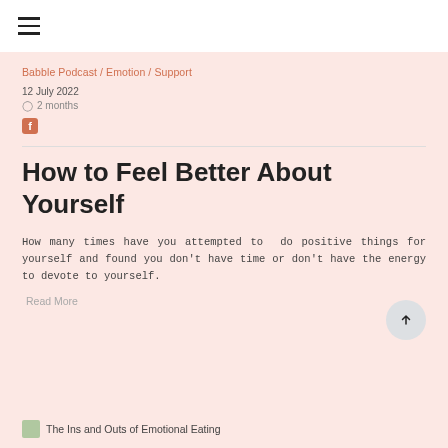≡
Babble Podcast / Emotion / Support
12 July 2022
⊙ 2 months
How to Feel Better About Yourself
How many times have you attempted to do positive things for yourself and found you don't have time or don't have the energy to devote to yourself.
Read More
The Ins and Outs of Emotional Eating